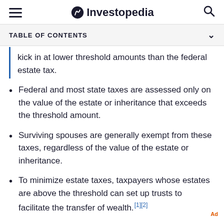Investopedia
TABLE OF CONTENTS
kick in at lower threshold amounts than the federal estate tax.
Federal and most state taxes are assessed only on the value of the estate or inheritance that exceeds the threshold amount.
Surviving spouses are generally exempt from these taxes, regardless of the value of the estate or inheritance.
To minimize estate taxes, taxpayers whose estates are above the threshold can set up trusts to facilitate the transfer of wealth. [1] [2]